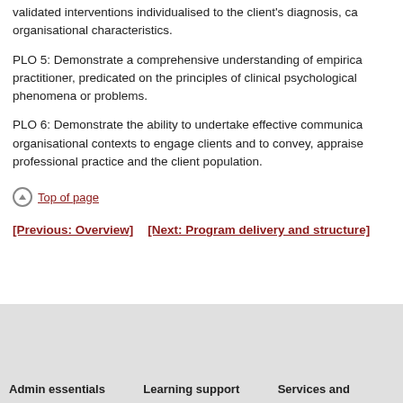validated interventions individualised to the client's diagnosis, ca... organisational characteristics.
PLO 5: Demonstrate a comprehensive understanding of empirica... practitioner, predicated on the principles of clinical psychological... phenomena or problems.
PLO 6: Demonstrate the ability to undertake effective communica... organisational contexts to engage clients and to convey, appraise... professional practice and the client population.
Top of page
[Previous: Overview]   [Next: Program delivery and structure]
Admin essentials
Learning support
Services and